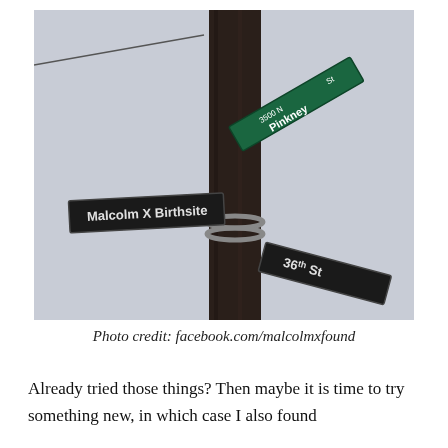[Figure (photo): Photograph of a wooden utility pole with multiple street signs attached. Signs read: 'Malcolm X Birthsite', 'Pinkney St 3500 N', and '36th St'.]
Photo credit: facebook.com/malcolmxfound
Already tried those things? Then maybe it is time to try something new, in which case I also found